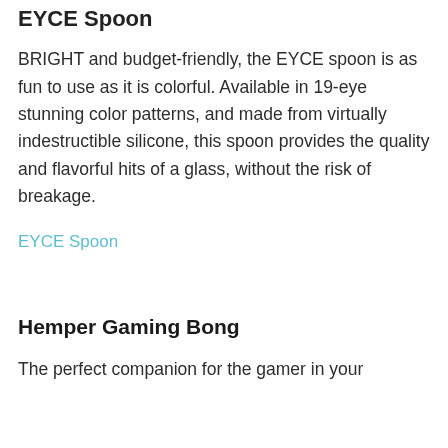EYCE Spoon
BRIGHT and budget-friendly, the EYCE spoon is as fun to use as it is colorful. Available in 19-eye stunning color patterns, and made from virtually indestructible silicone, this spoon provides the quality and flavorful hits of a glass, without the risk of breakage.
EYCE Spoon
Hemper Gaming Bong
The perfect companion for the gamer in your